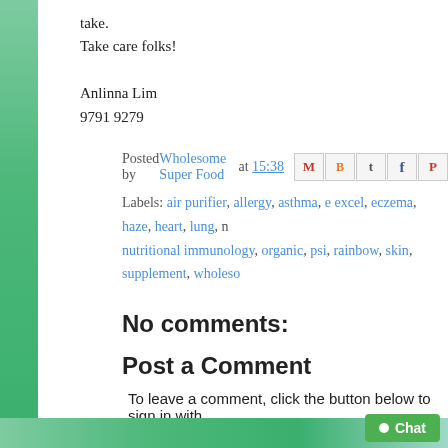take.
Take care folks!
Anlinna Lim
9791 9279
Posted by Wholesome Super Food at 15:38
Labels: air purifier, allergy, asthma, e excel, eczema, haze, heart, lung, n nutritional immunology, organic, psi, rainbow, skin, supplement, wholeso...
No comments:
Post a Comment
To leave a comment, click the button below to sign in with
SIGN IN WITH GOOGLE